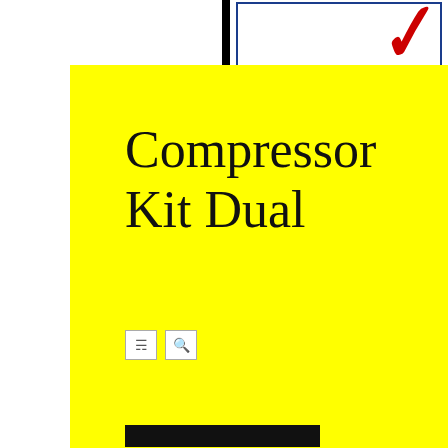Compressor Kit Dual
[Figure (screenshot): RSS and search icon buttons on yellow background]
[Figure (other): Black decorative bar element on yellow speech bubble background]
Proudly powered by WordPress
Theme: Esquire by Matthew Buchanan.
[Figure (illustration): Partial advertisement with red checkmark/swoosh logo on blue border]
[Figure (illustration): Advertisement showing partial red italic text 'Tre' and blue text 'We've' with blue border]
Details
Air Lift Control Air Kit Replaces Air including SUVs, of leveling capa add air to the air empty. Air spring Lift's air springs braking and steer